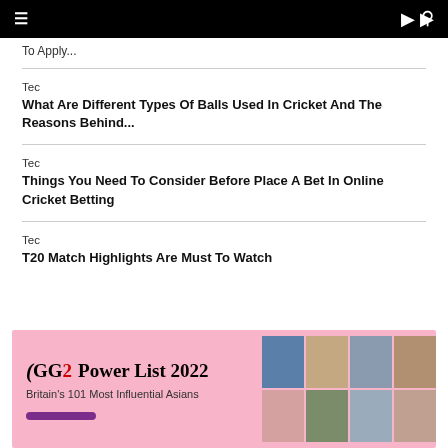≡  [navigation bar]  🔍
To Apply...
Tec
What Are Different Types Of Balls Used In Cricket And The Reasons Behind...
Tec
Things You Need To Consider Before Place A Bet In Online Cricket Betting
Tec
T20 Match Highlights Are Must To Watch
[Figure (other): GG2 Power List 2022 advertisement banner with pink background, logo, tagline 'Britain's 101 Most Influential Asians', and grid of headshot photos of people.]